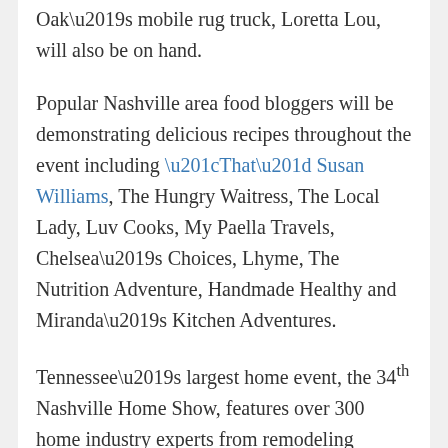Oak's mobile rug truck, Loretta Lou, will also be on hand.
Popular Nashville area food bloggers will be demonstrating delicious recipes throughout the event including “That” Susan Williams, The Hungry Waitress, The Local Lady, Luv Cooks, My Paella Travels, Chelsea’s Choices, Lhyme, The Nutrition Adventure, Handmade Healthy and Miranda’s Kitchen Adventures.
Tennessee’s largest home event, the 34th Nashville Home Show, features over 300 home industry experts from remodeling contractors, kitchen, bath and landscape designers to inspiring ideas for outdoor